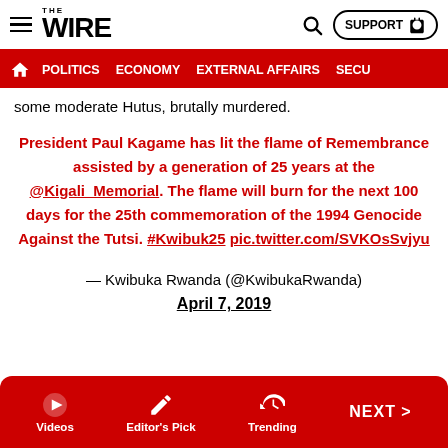THE WIRE — SUPPORT
POLITICS | ECONOMY | EXTERNAL AFFAIRS | SECU...
some moderate Hutus, brutally murdered.
President Paul Kagame has lit the flame of Remembrance assisted by a generation of 25 years at the @Kigali_Memorial. The flame will burn for the next 100 days for the 25th commemoration of the 1994 Genocide Against the Tutsi. #Kwibuk25 pic.twitter.com/SVKOsSvjyu
— Kwibuka Rwanda (@KwibukaRwanda)
April 7, 2019
Videos | Editor's Pick | Trending | NEXT >